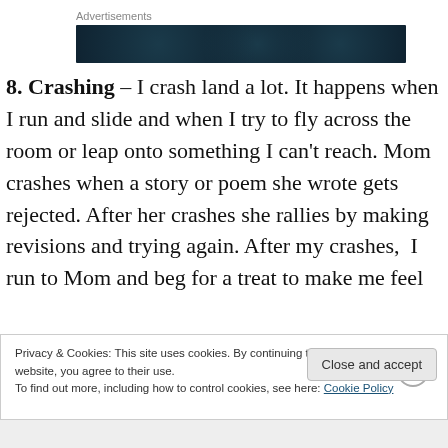[Figure (other): Advertisement banner — dark navy background with subtle dot/circle pattern]
8. Crashing – I crash land a lot. It happens when I run and slide and when I try to fly across the room or leap onto something I can't reach. Mom crashes when a story or poem she wrote gets rejected. After her crashes she rallies by making revisions and trying again. After my crashes, I run to Mom and beg for a treat to make me feel
Privacy & Cookies: This site uses cookies. By continuing to use this website, you agree to their use.
To find out more, including how to control cookies, see here: Cookie Policy